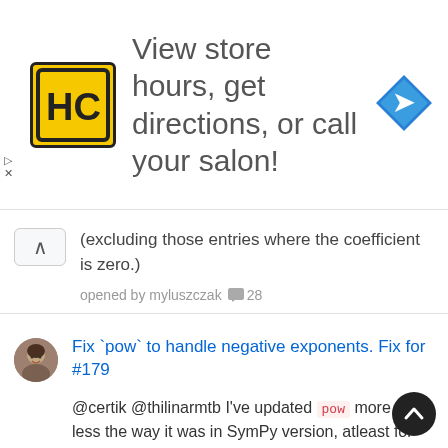[Figure (screenshot): Advertisement banner for a salon locator service with HC logo (yellow square with HC letters), text 'View store hours, get directions, or call your salon!', and a blue navigation/directions icon on the right. Ad control arrows on the left side.]
(excluding those entries where the coefficient is zero.)
opened by myluszczak 💬 28
Fix `pow` to handle negative exponents. Fix for #179
@certik @thilinarmtb I've updated pow more or less the way it was in SymPy version, atleast for the case of Number However, in some cases Mul gets a negative pow. Currently